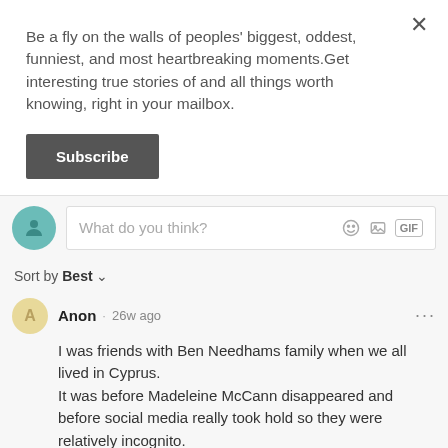Be a fly on the walls of peoples' biggest, oddest, funniest, and most heartbreaking moments.Get interesting true stories of and all things worth knowing, right in your mailbox.
Subscribe
What do you think?
Sort by Best
Anon · 26w ago
I was friends with Ben Needhams family when we all lived in Cyprus.
It was before Madeleine McCann disappeared and before social media really took hold so they were relatively incognito.
But after Madeleines disappearance Bens case came ve…See more